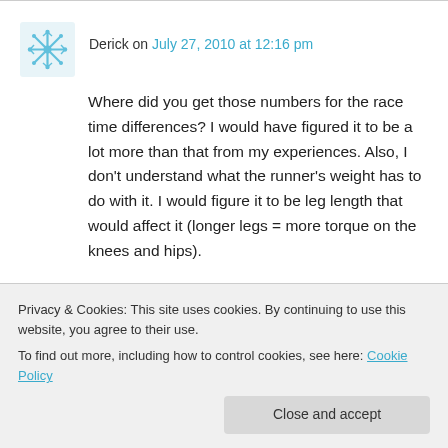Derick on July 27, 2010 at 12:16 pm
Where did you get those numbers for the race time differences? I would have figured it to be a lot more than that from my experiences. Also, I don't understand what the runner's weight has to do with it. I would figure it to be leg length that would affect it (longer legs = more torque on the knees and hips).
↳ Reply
Privacy & Cookies: This site uses cookies. By continuing to use this website, you agree to their use. To find out more, including how to control cookies, see here: Cookie Policy
that pop up when you google weight +